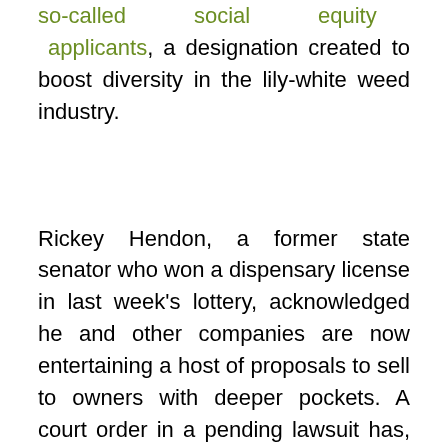so-called social equity applicants, a designation created to boost diversity in the lily-white weed industry.
Rickey Hendon, a former state senator who won a dispensary license in last week's lottery, acknowledged he and other companies are now entertaining a host of proposals to sell to owners with deeper pockets. A court order in a pending lawsuit has, however, blocked the formal issuance of the pot shop permits for now.
“Of course some of the smaller companies are listening to all kinds of offers,” said Hendon, who became a de facto spokesman